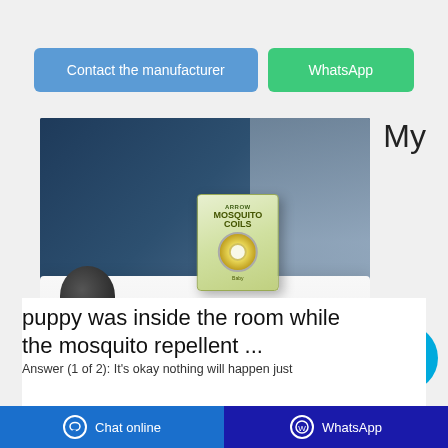Contact the manufacturer
WhatsApp
[Figure (photo): Product photo of Arrow Mosquito Coils box placed on white cloth with dark blue background and decorative plant vase]
My
puppy was inside the room while the mosquito repellent ...
Answer (1 of 2): It's okay nothing will happen just
Chat online   WhatsApp